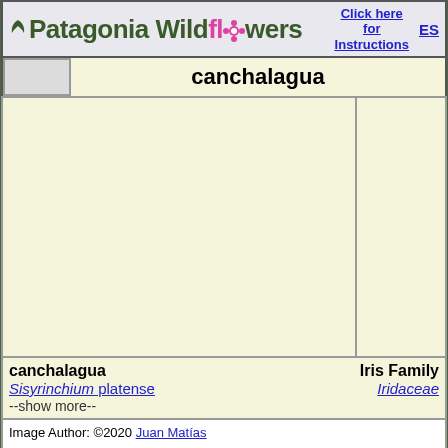Patagonia Wildflowers — Click here for Instructions — ES
canchalagua
[Figure (photo): Photo area placeholder for canchalagua flower image (Sisyrinchium platense), yellowish-cream background, split into main photo cell and side cell]
canchalagua
Sisyrinchium platense
--show more--
Iris Family
Iridaceae
Image Author: ©2020 Juan Matías
Image License: CC BY-NC